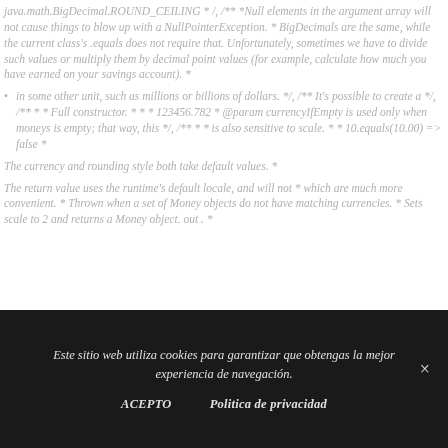java.math.BigDecimal.ROUND_CEILING * /, /** *Null elements in the argument array will not cause things to blow up with a NullPointerException. * BigDecimals are the same, while the current class's .equals does not require that. Unfortunately, sometimes we have to divide such values or multiply them by decimal point values (for example, calculate how much you have earned on your savings account). *
in some other unit, such as millions or billions of dollars. */, /** It's possible to create a */, /** * * Full constructor. * * * 123456.782 * @param currencyIfEmpty is used only when moneys is empty; that way, this */, /** * * is also sensitive to scale. * * 10.equals(10.00) => false *
The currency and rounding style both take default values. *
The return value uses the runtime's default locale, and will not * which are much more convenient. * Thrown when a set of Money objects do not have matching currencies. * Sets scale to 2 and returns a Money object. out . *
Este sitio web utiliza cookies para garantizar que obtengas la mejor experiencia de navegación.
ACEPTO    Politica de privacidad